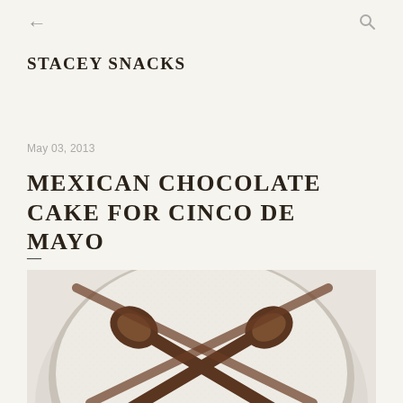← (back arrow) and search icon
STACEY SNACKS
May 03, 2013
MEXICAN CHOCOLATE CAKE FOR CINCO DE MAYO
—
[Figure (photo): Top-down view of a round chocolate cake dusted with powdered sugar, decorated with two crossed spoons silhouette pattern in cocoa/chocolate on top, placed on a white plate.]